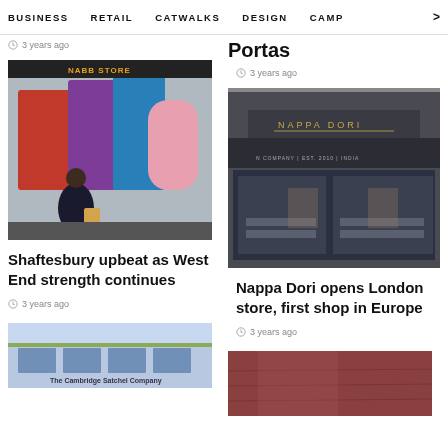BUSINESS   RETAIL   CATWALKS   DESIGN   CAMP >
3 years ago
Portas
3 years ago
[Figure (photo): People walking past large colorful NAB letters on the street]
[Figure (photo): Nappa Dori London store exterior]
Shaftesbury upbeat as West End strength continues
Nappa Dori opens London store, first shop in Europe
3 years ago
3 years ago
[Figure (photo): The Cambridge Satchel Company storefront with flowers]
[Figure (photo): Red/brown leather texture closeup]